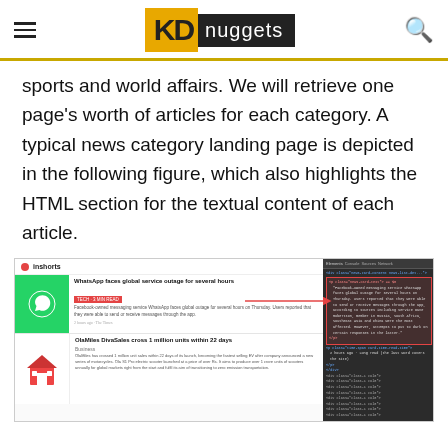KDnuggets
sports and world affairs. We will retrieve one page's worth of articles for each category. A typical news category landing page is depicted in the following figure, which also highlights the HTML section for the textual content of each article.
[Figure (screenshot): Screenshot of InShorts news app category page alongside browser developer tools highlighting the HTML section containing article text content. A red arrow points from the article text in the app to the highlighted HTML element in dev tools.]